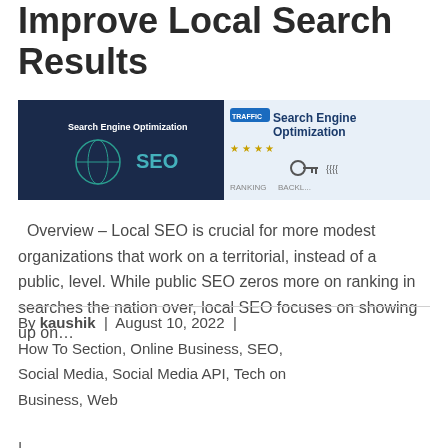Improve Local Search Results
[Figure (photo): Two SEO (Search Engine Optimization) related banner images side by side. Left shows a dark blue background with 'Search Engine Optimization' text and 'SEO' letters. Right shows a lighter image with 'Search Engine Optimization' text and traffic/ranking related icons.]
Overview – Local SEO is crucial for more modest organizations that work on a territorial, instead of a public, level. While public SEO zeros more on ranking in searches the nation over, local SEO focuses on showing up on…
By kaushik  |  August 10, 2022  |  How To Section, Online Business, SEO, Social Media, Social Media API, Tech on Business, Web
|
Read more
Social Media optimization